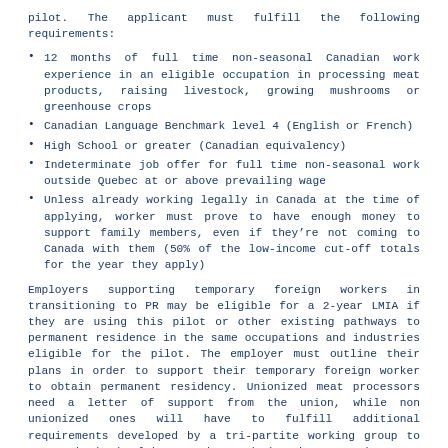pilot. The applicant must fulfill the following requirements:
12 months of full time non-seasonal Canadian work experience in an eligible occupation in processing meat products, raising livestock, growing mushrooms or greenhouse crops
Canadian Language Benchmark level 4 (English or French)
High School or greater (Canadian equivalency)
Indeterminate job offer for full time non-seasonal work outside Quebec at or above prevailing wage
Unless already working legally in Canada at the time of applying, worker must prove to have enough money to support family members, even if they’re not coming to Canada with them (50% of the low-income cut-off totals for the year they apply)
Employers supporting temporary foreign workers in transitioning to PR may be eligible for a 2-year LMIA if they are using this pilot or other existing pathways to permanent residence in the same occupations and industries eligible for the pilot. The employer must outline their plans in order to support their temporary foreign worker to obtain permanent residency. Unionized meat processors need a letter of support from the union, while non unionized ones will have to fulfill additional requirements developed by a tri-partite working group to ensure both the labour market and the migrant workers are protected. Immigration, Refugees and Citizenship Canada (IRCC) expects a maximum of 2,750 principal applicants to